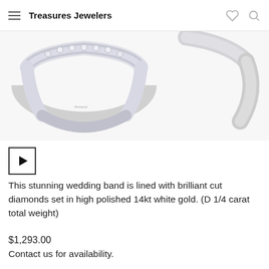Treasures Jewelers
[Figure (photo): Two diamond wedding bands in white gold, one with diamonds and one plain, partially cropped at top of page]
[Figure (other): Small video thumbnail with play button arrow]
This stunning wedding band is lined with brilliant cut diamonds set in high polished 14kt white gold. (D 1/4 carat total weight)
$1,293.00
Contact us for availability.
Sizing fee may apply. All bridal rings and bands are stocked in size 6. Fashion rings are usually stocked in size 7. Certain sizes must be special ordered and may take up to 3 weeks. Please call us for more details.